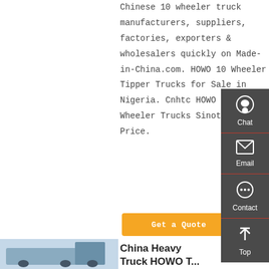Chinese 10 wheeler truck manufacturers, suppliers, factories, exporters & wholesalers quickly on Made-in-China.com. HOWO 10 Wheeler Tipper Trucks for Sale in Nigeria. Cnhtc HOWO 10 Wheeler Trucks Sinotruk HOWO Price.
Get a Quote
[Figure (screenshot): Sidebar with Chat, Email, Contact, and Top navigation buttons on dark grey background]
[Figure (photo): Photo of a heavy truck, partial view]
China Heavy Truck HOWO T...